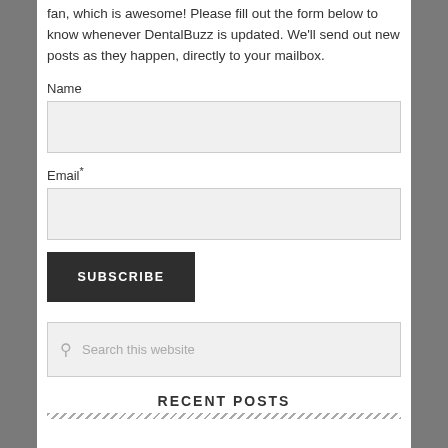fan, which is awesome! Please fill out the form below to know whenever DentalBuzz is updated. We'll send out new posts as they happen, directly to your mailbox.
Name
Email*
SUBSCRIBE
Search this website
RECENT POSTS